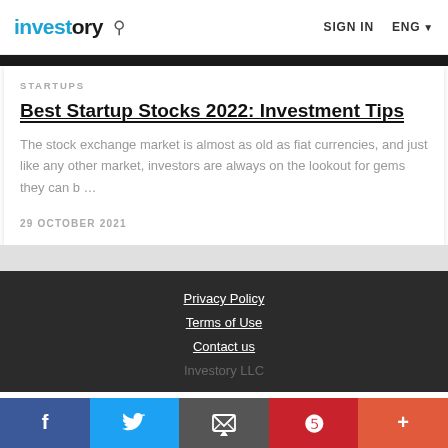investory  🔍  SIGN IN  ENG
STARTUPS
Best Startup Stocks 2022: Investment Tips
The stock exchange market is almost as old as fiat currencies, and just like any other market, investors are always on the lookout for gems they can b …
29 OCTOBER 2021
Privacy Policy  Terms of Use  Contact us  Investory LLC
f  Twitter  Email  Pinterest  +